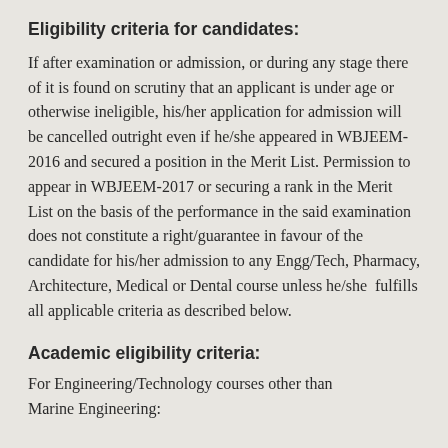Eligibility criteria for candidates:
If after examination or admission, or during any stage there of it is found on scrutiny that an applicant is under age or otherwise ineligible, his/her application for admission will be cancelled outright even if he/she appeared in WBJEEM-2016 and secured a position in the Merit List. Permission to appear in WBJEEM-2017 or securing a rank in the Merit List on the basis of the performance in the said examination does not constitute a right/guarantee in favour of the candidate for his/her admission to any Engg/Tech, Pharmacy, Architecture, Medical or Dental course unless he/she  fulfills all applicable criteria as described below.
Academic eligibility criteria:
For Engineering/Technology courses other than Marine Engineering: